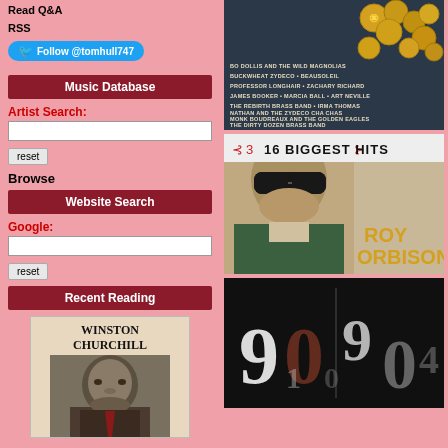Read Q&A
RSS
Follow @tomhull747
Music Database
Artist Search:
reset
Browse
Website Search
Google:
reset
Recent Reading
[Figure (photo): Album cover with coins and artist text listing: Bo Dollis and the Wild Magnolias, Buckwheat Zydeco, Beausoleil, Professor Longhair, Zachary Richard, James Booker, Marcia Ball, Art Neville, The Rebirth Brass Band, Irma Thomas, Nathan and the Zydeco Cha Chas, Monk Boudreaux and the Golden Eagles, The Dirty Dozen Brass Band, Tuts Washington]
[Figure (photo): Roy Orbison 16 Biggest Hits album cover showing a man with dark sunglasses]
[Figure (photo): Album cover with stylized numbers 9, 0, 1, 0, 0, 4 on dark background]
[Figure (photo): Book cover: Winston Churchill with portrait]